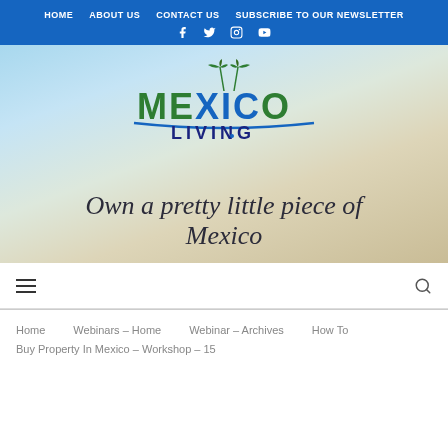HOME  ABOUT US  CONTACT US  SUBSCRIBE TO OUR NEWSLETTER
[Figure (screenshot): Mexico Living website hero image with logo and tagline 'Own a pretty little piece of Mexico' over a sandy beach background]
Own a pretty little piece of Mexico
Home  Webinars – Home  Webinar – Archives  How To Buy Property In Mexico – Workshop – 15